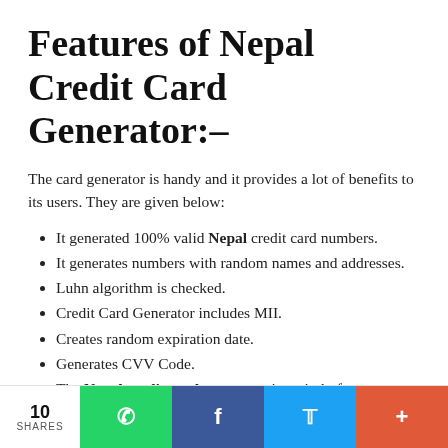Features of Nepal Credit Card Generator:–
The card generator is handy and it provides a lot of benefits to its users. They are given below:
It generated 100% valid Nepal credit card numbers.
It generates numbers with random names and addresses.
Luhn algorithm is checked.
Credit Card Generator includes MII.
Creates random expiration date.
Generates CVV Code.
The Nepal credit card generator is entirely free to generate credit card numbers.
You can also Generate Bulk Nepal Credit Cards and download output in CSV, JSON, XML format
10 SHARES | WhatsApp | Facebook | Twitter | More